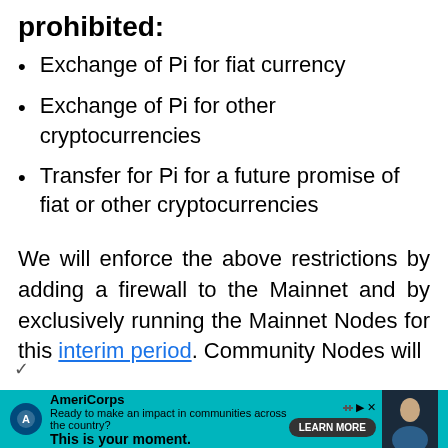prohibited:
Exchange of Pi for fiat currency
Exchange of Pi for other cryptocurrencies
Transfer for Pi for a future promise of fiat or other cryptocurrencies
We will enforce the above restrictions by adding a firewall to the Mainnet and by exclusively running the Mainnet Nodes for this interim period. Community Nodes will
[Figure (other): AmeriCorps advertisement banner: 'Ready to make an impact in communities across the country? This is your moment.' with a LEARN MORE button and a photo of a person.]